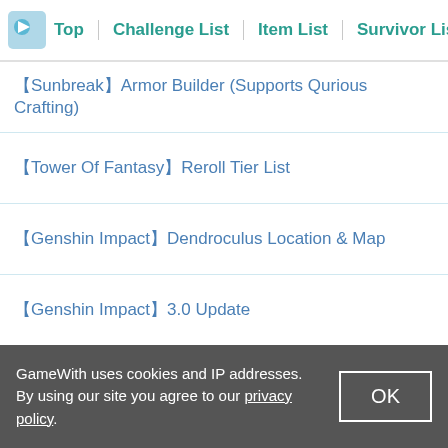Top | Challenge List | Item List | Survivor List | Boss L
【Sunbreak】Armor Builder (Supports Qurious Crafting)
【Tower Of Fantasy】Reroll Tier List
【Genshin Impact】Dendroculus Location & Map
【Genshin Impact】3.0 Update
【Genshin Impact】Tighnari Best Builds & Teams
Top | Help Center | About Us | Terms of Use | Privacy Policy | Contact Us | GameWith(ゲームウィズ) | 게임위드(공략위키)
GameWith uses cookies and IP addresses. By using our site you agree to our privacy policy.